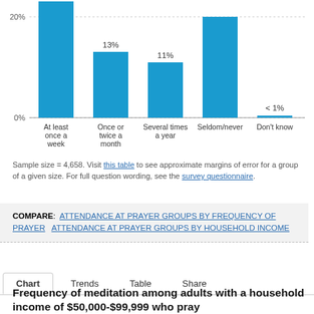[Figure (bar-chart): Attendance at prayer groups by frequency of attendance]
Sample size = 4,658. Visit this table to see approximate margins of error for a group of a given size. For full question wording, see the survey questionnaire.
COMPARE: ATTENDANCE AT PRAYER GROUPS BY FREQUENCY OF PRAYER   ATTENDANCE AT PRAYER GROUPS BY HOUSEHOLD INCOME
Chart  Trends  Table  Share
Frequency of meditation among adults with a household income of $50,000-$99,999 who pray...